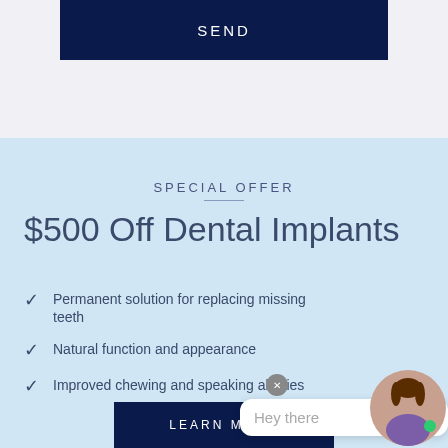[Figure (other): Dark navy blue SEND button at top of page]
SPECIAL OFFER
$500 Off Dental Implants
Permanent solution for replacing missing teeth
Natural function and appearance
Improved chewing and speaking abilities
[Figure (other): LEARN MORE dark navy button at bottom]